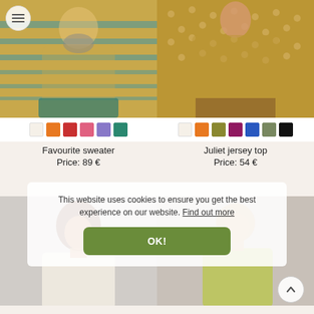[Figure (photo): Woman wearing an orange/mustard striped sweater with teal stripes and a patterned scarf, product photo for Favourite sweater]
[Figure (photo): Woman wearing a mustard/golden polka dot v-neck jersey top, product photo for Juliet jersey top]
Favourite sweater
Price: 89 €
Juliet jersey top
Price: 54 €
[Figure (photo): Woman with curly hair wearing a cream top, partially obscured by cookie banner]
[Figure (photo): Woman with short hair, partially obscured by cookie banner]
This website uses cookies to ensure you get the best experience on our website. Find out more
OK!